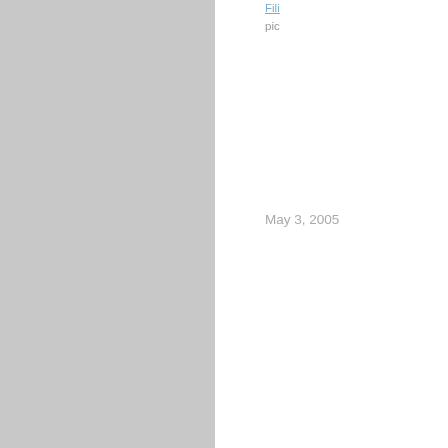Fili... pic...
May 3, 2005
"H..."
Fe...
On Fe the Fe cas Lie an aw Mu sta is a wh en Th to f